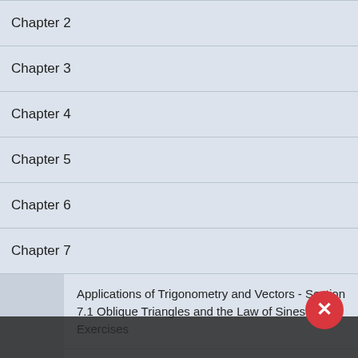Chapter 2
Chapter 3
Chapter 4
Chapter 5
Chapter 6
Chapter 7
Applications of Trigonometry and Vectors - Section 7.1 Oblique Triangles and the Law of Sines - 7.1 Exercises
Applications of Trigonometry and Vectors - Section 7.1 Oblique Triangles and the Law of Sines - 7.1 Exercises